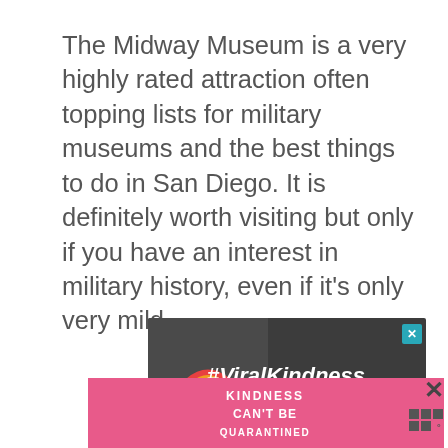The Midway Museum is a very highly rated attraction often topping lists for military museums and the best things to do in San Diego. It is definitely worth visiting but only if you have an interest in military history, even if it's only very mild.
[Figure (screenshot): Dark grey advertisement banner showing a chalk-drawn rainbow on the left and the text '#ViralKindness' in white bold italic font on the right, with a teal close (X) button in the top right corner.]
[Figure (screenshot): Pink advertisement banner at the bottom with white text reading 'KINDNESS CAN'T BE QUARANTINED' in uppercase letters. A close (X) button is to the right, along with a sidebar icon showing an X and three squares logo below it.]